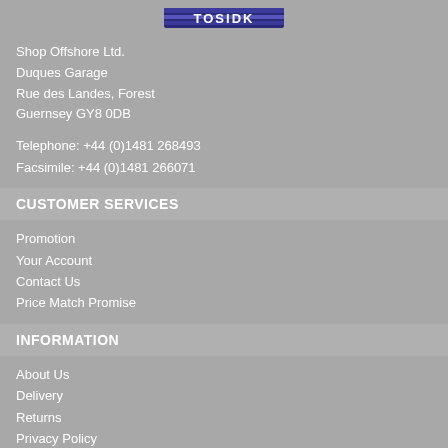[Figure (logo): TOSIDK or similar brand logo with blue striped text]
Shop Offshore Ltd.
Duques Garage
Rue des Landes, Forest
Guernsey GY8 0DB
Telephone: +44 (0)1481 268493
Facsimile: +44 (0)1481 266071
CUSTOMER SERVICES
Promotion
Your Account
Contact Us
Price Match Promise
INFORMATION
About Us
Delivery
Returns
Privacy Policy
Terms and Conditions
CLICK TO SUBSCRIBE
Don't miss out on our next great offer.
Sign up to our mailing list!